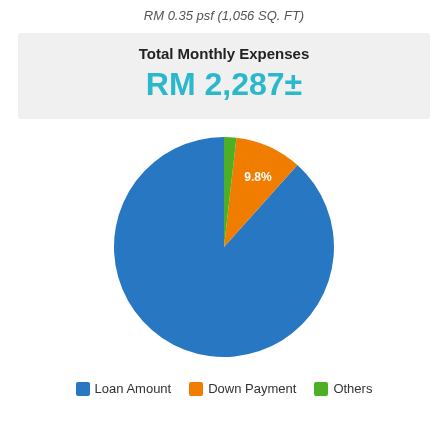RM 0.35 psf (1,056 SQ. FT)
| Total Monthly Expenses |
| --- |
| RM 2,287± |
[Figure (pie-chart): Total Monthly Expenses]